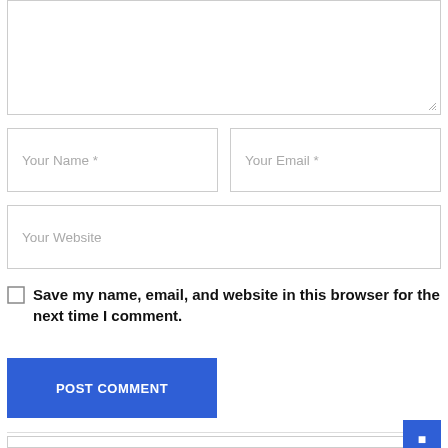[Figure (screenshot): Textarea input field (empty, resizable) for comment form]
[Figure (screenshot): Two text input fields side by side: 'Your Name *' and 'Your Email *']
[Figure (screenshot): Text input field: 'Your Website']
Save my name, email, and website in this browser for the next time I comment.
[Figure (screenshot): Blue 'POST COMMENT' button]
[Figure (screenshot): Blue scroll-to-top button at bottom right with arrow icon]